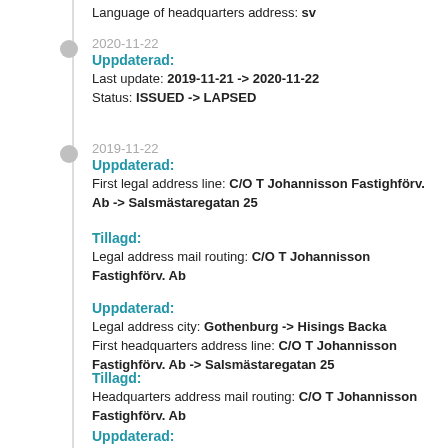Language of headquarters address: sv
2020-11-22
Uppdaterad:
Last update: 2019-11-21 -> 2020-11-22
Status: ISSUED -> LAPSED
2019-11-22
Uppdaterad:
First legal address line: C/O T Johannisson Fastighförv. Ab -> Salsmästaregatan 25
Tillagd:
Legal address mail routing: C/O T Johannisson Fastighförv. Ab
Uppdaterad:
Legal address city: Gothenburg -> Hisings Backa
First headquarters address line: C/O T Johannisson Fastighförv. Ab -> Salsmästaregatan 25
Tillagd:
Headquarters address mail routing: C/O T Johannisson Fastighförv. Ab
Uppdaterad: